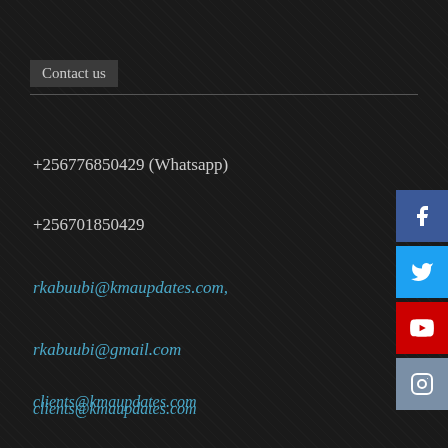Contact us
+256776850429 (Whatsapp)
+256701850429
rkabuubi@kmaupdates.com,
rkabuubi@gmail.com
clients@kmaupdates.com
advertising@kmaupdates.com
sales@kmaupdates.com
[Figure (infographic): Social media icons: Facebook (blue), Twitter (light blue), YouTube (red), Instagram (grey-blue), arranged vertically on the right edge]